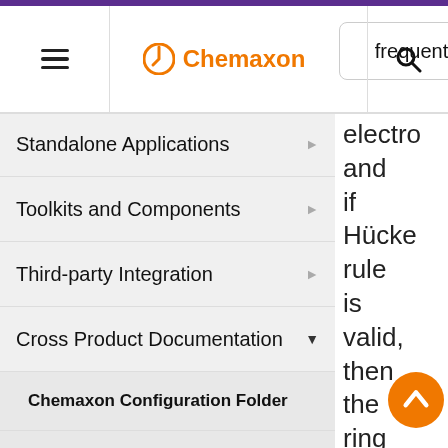Chemaxon | frequent | search
Standalone Applications
Toolkits and Components
Third-party Integration
Cross Product Documentation
Chemaxon Configuration Folder
Chemical Fingerprints
Chemical Terms
File Formats
Input and Output System
electro and if Hücke rule is valid, then the ring is aroma ng syster